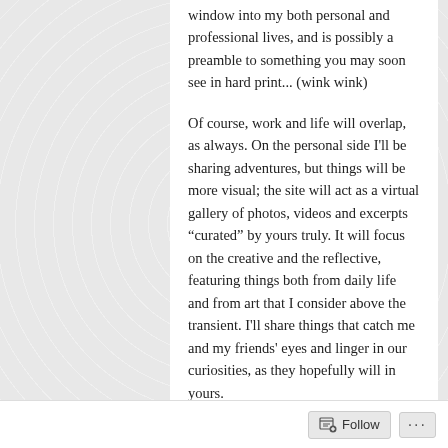window into my both personal and professional lives, and is possibly a preamble to something you may soon see in hard print... (wink wink)
Of course, work and life will overlap, as always. On the personal side I'll be sharing adventures, but things will be more visual; the site will act as a virtual gallery of photos, videos and excerpts “curated” by yours truly. It will focus on the creative and the reflective, featuring things both from daily life and from art that I consider above the transient. I'll share things that catch me and my friends' eyes and linger in our curiosities, as they hopefully will in yours.
Professionally, I manage a major local real
Follow ...